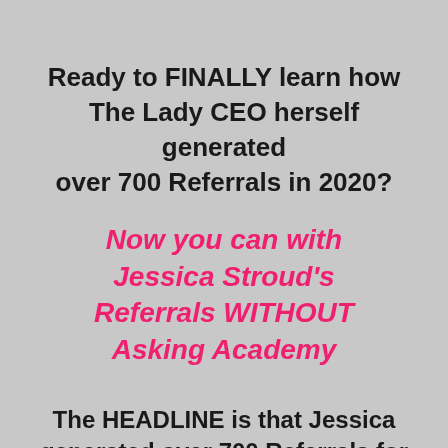Ready to FINALLY learn how The Lady CEO herself generated over 700 Referrals in 2020?
Now you can with Jessica Stroud's Referrals WITHOUT Asking Academy
The HEADLINE is that Jessica generated over 700 Referrals for